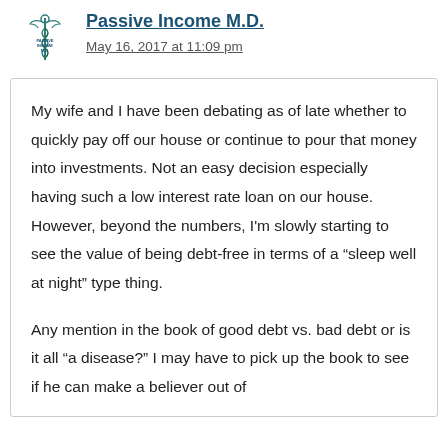Passive Income M.D.
May 16, 2017 at 11:09 pm
My wife and I have been debating as of late whether to quickly pay off our house or continue to pour that money into investments. Not an easy decision especially having such a low interest rate loan on our house. However, beyond the numbers, I'm slowly starting to see the value of being debt-free in terms of a “sleep well at night” type thing.
Any mention in the book of good debt vs. bad debt or is it all “a disease?” I may have to pick up the book to see if he can make a believer out of